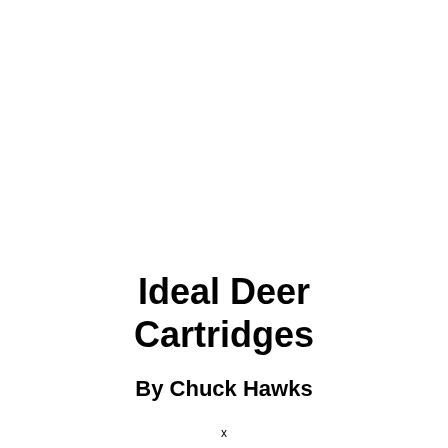Ideal Deer Cartridges
By Chuck Hawks
x